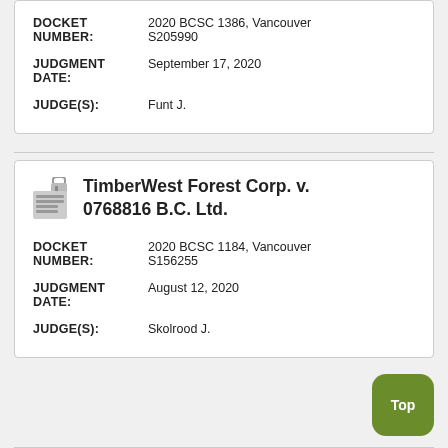| Field | Value |
| --- | --- |
| DOCKET NUMBER: | 2020 BCSC 1386, Vancouver S205990 |
| JUDGMENT DATE: | September 17, 2020 |
| JUDGE(S): | Funt J. |
TimberWest Forest Corp. v. 0768816 B.C. Ltd.
| Field | Value |
| --- | --- |
| DOCKET NUMBER: | 2020 BCSC 1184, Vancouver S156255 |
| JUDGMENT DATE: | August 12, 2020 |
| JUDGE(S): | Skolrood J. |